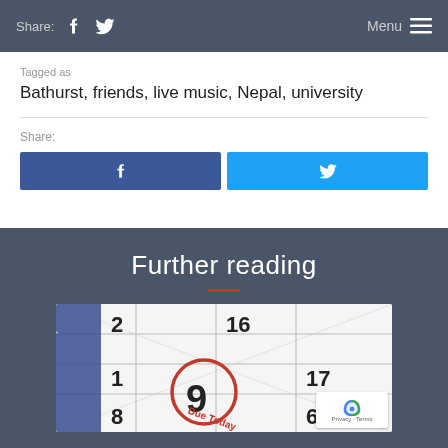Share: [Facebook] [Twitter]   Menu ☰
Tagged as
Bathurst, friends, live music, Nepal, university
Share:
[Figure (other): Facebook and Twitter share buttons side by side]
Further reading
[Figure (photo): Calendar image showing the number 9 circled in red with text 'Due Today']